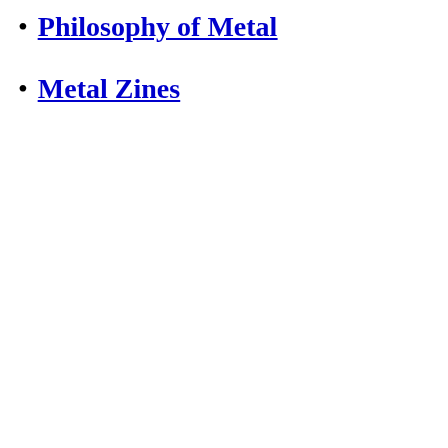Philosophy of Metal
Metal Zines